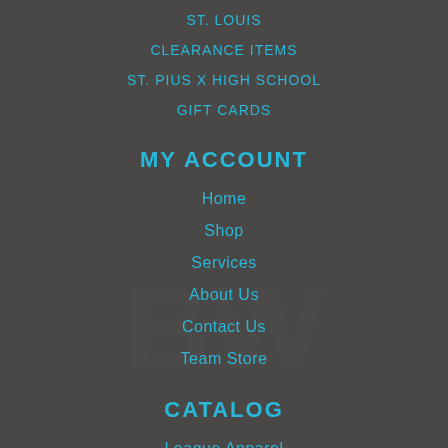ST. LOUIS
CLEARANCE ITEMS
ST. PIUS X HIGH SCHOOL
GIFT CARDS
MY ACCOUNT
Home
Shop
Services
About Us
Contact Us
Team Store
CATALOG
League Apparel